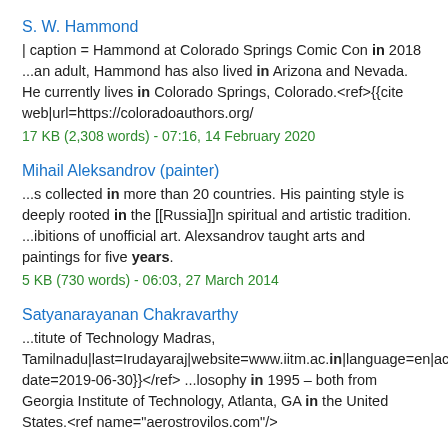S. W. Hammond
| caption = Hammond at Colorado Springs Comic Con in 2018 ...an adult, Hammond has also lived in Arizona and Nevada. He currently lives in Colorado Springs, Colorado.<ref>{{cite web|url=https://coloradoauthors.org/
17 KB (2,308 words) - 07:16, 14 February 2020
Mihail Aleksandrov (painter)
...s collected in more than 20 countries. His painting style is deeply rooted in the [[Russia]]n spiritual and artistic tradition. ...ibitions of unofficial art. Alexsandrov taught arts and paintings for five years.
5 KB (730 words) - 06:03, 27 March 2014
Satyanarayanan Chakravarthy
...titute of Technology Madras, Tamilnadu|last=Irudayaraj|website=www.iitm.ac.in|language=en|acce date=2019-06-30}}</ref> ...losophy in 1995 – both from Georgia Institute of Technology, Atlanta, GA in the United States.<ref name="aerostrovilos.com"/>